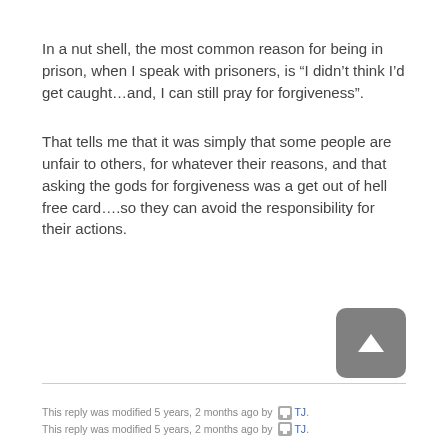In a nut shell, the most common reason for being in prison, when I speak with prisoners, is “I didn’t think I’d get caught…and, I can still pray for forgiveness”.
That tells me that it was simply that some people are unfair to others, for whatever their reasons, and that asking the gods for forgiveness was a get out of hell free card….so they can avoid the responsibility for their actions.
This reply was modified 5 years, 2 months ago by TJ.
This reply was modified 5 years, 2 months ago by TJ.